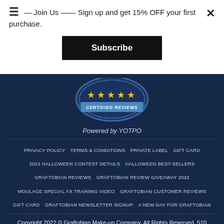☰ — Join Us —— Sign up and get 15% OFF your first purchase.
Subscribe
[Figure (illustration): Five gold stars certified reviews badge, blue shield/ribbon style, 'CERTIFIED REVIEWS' text on ribbon]
Powered by YOTPO
Privacy Policy   Terms & Conditions   Private Label   Gift Card   2021 Halloween Contest Details   Halloween Best-Sellers   Graftobian Reviews   Graftobian Review Giveaway 2022   Moulage Special FX Training Video   Graftobian Customer Reviews   Gift Card   Graftobian Newsletter Signup   A New Day For Graftobian
Copyright 2022 © Graftobian Make-up Company. All Rights Reserved. 510 Tasman Street, Madison, WI, 53714 | Phone: 1.608.222.7849